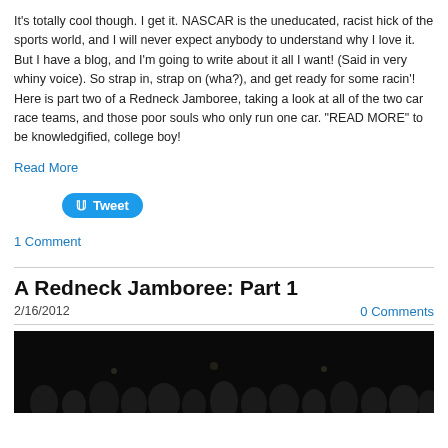It's totally cool though. I get it. NASCAR is the uneducated, racist hick of the sports world, and I will never expect anybody to understand why I love it. But I have a blog, and I'm going to write about it all I want! (Said in very whiny voice). So strap in, strap on (wha?), and get ready for some racin'! Here is part two of a Redneck Jamboree, taking a look at all of the two car race teams, and those poor souls who only run one car. "READ MORE" to be knowledgified, college boy!
Read More
[Figure (other): Tweet button with Twitter bird icon]
1 Comment
A Redneck Jamboree: Part 1
2/16/2012
0 Comments
[Figure (photo): Dark photograph showing crowd silhouettes at what appears to be a racing event]